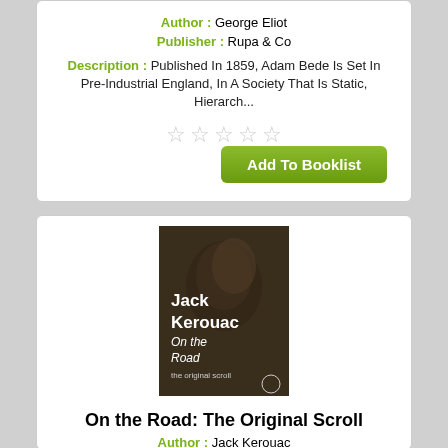Author : George Eliot
Publisher : Rupa & Co
Description : Published In 1859, Adam Bede Is Set In Pre-Industrial England, In A Society That Is Static, Hierarch...
[Figure (other): Five empty star rating icons]
Add To Booklist
[Figure (photo): Book cover of 'On the Road: The Original Scroll' by Jack Kerouac, Penguin edition, showing a dark moody portrait photo with white text]
On the Road: The Original Scroll
Author : Jack Kerouac
Publisher : Penguin India